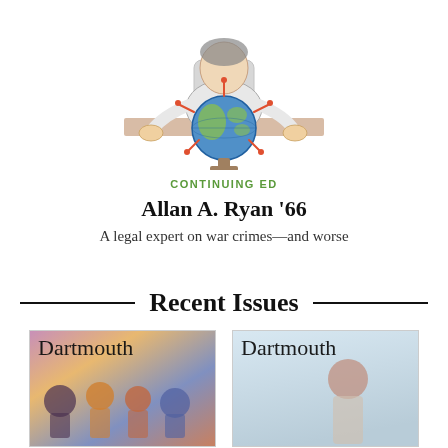[Figure (illustration): Watercolor illustration of a person seated at a desk holding a globe with spiky virus-like projections on it, arms reaching around the globe]
CONTINUING ED
Allan A. Ryan '66
A legal expert on war crimes—and worse
Recent Issues
[Figure (photo): Cover of Dartmouth alumni magazine showing diverse group of people, colorful]
[Figure (photo): Cover of Dartmouth alumni magazine showing a person against light blue background]